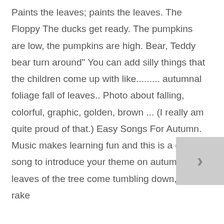Paints the leaves; paints the leaves. The Floppy The ducks get ready. The pumpkins are low, the pumpkins are high. Bear, Teddy bear turn around" You can add silly things that the children come up with like......... autumnal foliage fall of leaves.. Photo about falling, colorful, graphic, golden, brown ... (I really am quite proud of that.) Easy Songs For Autumn. Music makes learning fun and this is a great song to introduce your theme on autumn. The leaves of the tree come tumbling down, We'll rake